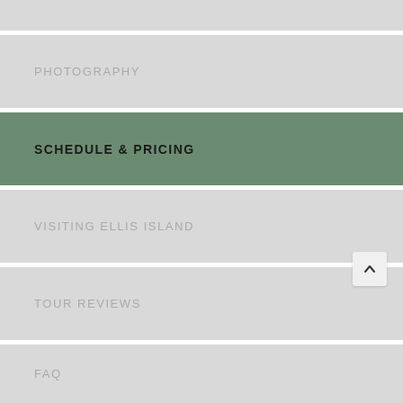PHOTOGRAPHY
SCHEDULE & PRICING
VISITING ELLIS ISLAND
TOUR REVIEWS
FAQ